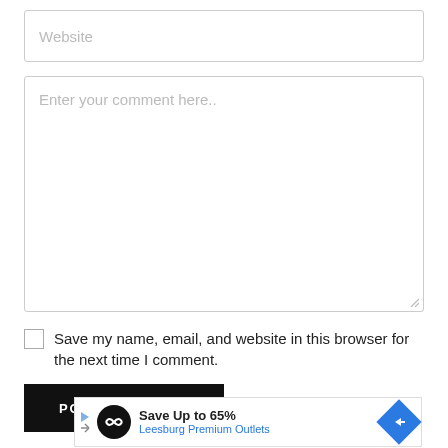Website
Enter your comment here..
Save my name, email, and website in this browser for the next time I comment.
POST COMMENT
[Figure (screenshot): Advertisement banner: Save Up to 65% Leesburg Premium Outlets with logo and navigation arrow icon]